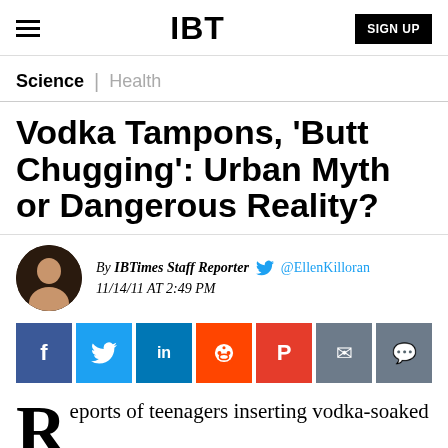IBT | SIGN UP
Science | Health
Vodka Tampons, 'Butt Chugging': Urban Myth or Dangerous Reality?
By IBTimes Staff Reporter @EllenKilloran 11/14/11 AT 2:49 PM
[Figure (other): Social sharing buttons: Facebook, Twitter, LinkedIn, Reddit, Flipboard, Email, Comments]
Reports of teenagers inserting vodka-soaked